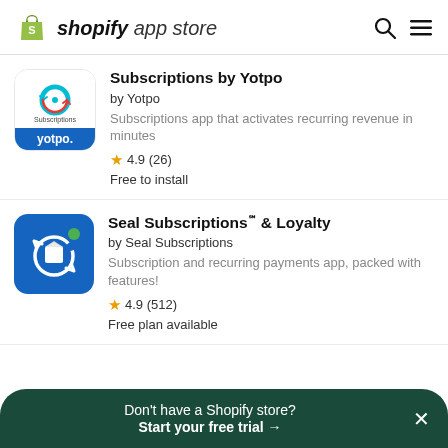shopify app store
[Figure (logo): Yotpo Subscriptions app icon - white background with teal/blue circular icon showing subscriptions logo, blue banner at bottom with 'yotpo.' text]
Subscriptions by Yotpo
by Yotpo
Subscriptions app that activates recurring revenue in minutes
★ 4.9 (26)
Free to install
[Figure (logo): Seal Subscriptions app icon - blue square with rounded corners, white circular arrow icon around a box, green dot in top right]
Seal Subscriptions℠ & Loyalty
by Seal Subscriptions
Subscription and recurring payments app, packed with features!
★ 4.9 (512)
Free plan available
Don't have a Shopify store? Start your free trial →